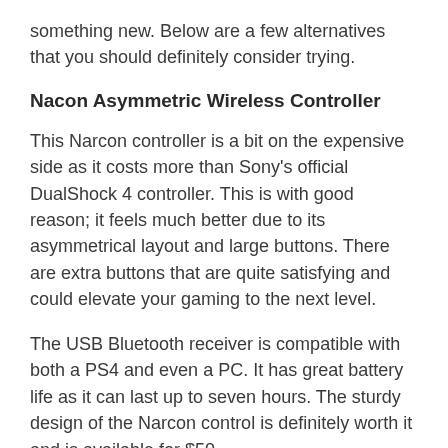something new. Below are a few alternatives that you should definitely consider trying.
Nacon Asymmetric Wireless Controller
This Narcon controller is a bit on the expensive side as it costs more than Sony's official DualShock 4 controller. This is with good reason; it feels much better due to its asymmetrical layout and large buttons. There are extra buttons that are quite satisfying and could elevate your gaming to the next level.
The USB Bluetooth receiver is compatible with both a PS4 and even a PC. It has great battery life as it can last up to seven hours. The sturdy design of the Narcon control is definitely worth it and is available for $50.